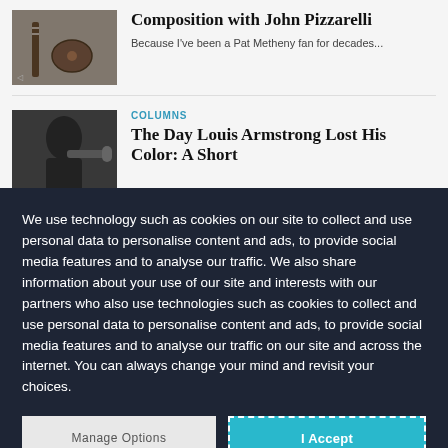[Figure (photo): Thumbnail photo of a musician with a guitar]
Composition with John Pizzarelli
Because I've been a Pat Metheny fan for decades...
COLUMNS
[Figure (photo): Black and white thumbnail photo of Louis Armstrong playing trumpet]
The Day Louis Armstrong Lost His Color: A Short
We use technology such as cookies on our site to collect and use personal data to personalise content and ads, to provide social media features and to analyse our traffic. We also share information about your use of our site and interests with our partners who also use technologies such as cookies to collect and use personal data to personalise content and ads, to provide social media features and to analyse our traffic on our site and across the internet. You can always change your mind and revisit your choices.
Manage Options | I Accept